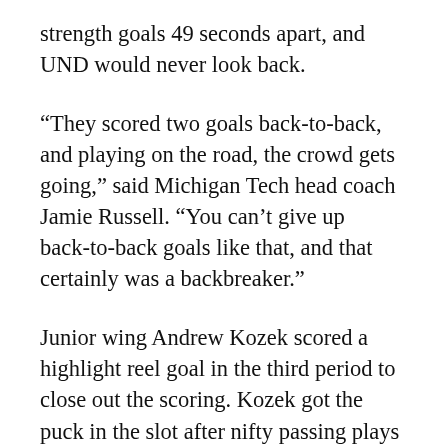strength goals 49 seconds apart, and UND would never look back.
“They scored two goals back-to-back, and playing on the road, the crowd gets going,” said Michigan Tech head coach Jamie Russell. “You can’t give up back-to-back goals like that, and that certainly was a backbreaker.”
Junior wing Andrew Kozek scored a highlight reel goal in the third period to close out the scoring. Kozek got the puck in the slot after nifty passing plays by Ryan Martens and Brad Miller and made no mistake, scoring five-hole after getting Teslak to commit. Kozek leads the team in goals with 16 (in 35 games) after